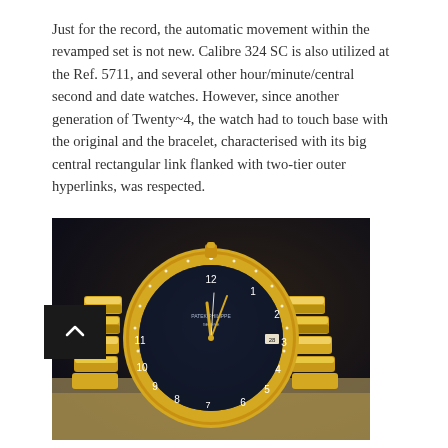Just for the record, the automatic movement within the revamped set is not new. Calibre 324 SC is also utilized at the Ref. 5711, and several other hour/minute/central second and date watches. However, since another generation of Twenty~4, the watch had to touch base with the original and the bracelet, characterised with its big central rectangular link flanked with two-tier outer hyperlinks, was respected.
[Figure (photo): Close-up photo of a Patek Philippe Twenty~4 watch with a dark navy/black dial, diamond-set bezel in yellow gold, gold bracelet with rectangular links, Arabic numerals, and a date window, photographed on a light surface with dark background.]